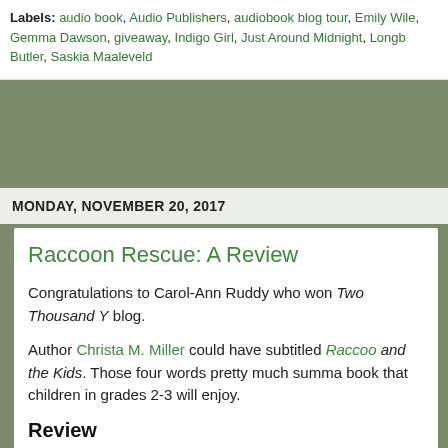Labels: audio book, Audio Publishers, audiobook blog tour, Emily Wile, Gemma Dawson, giveaway, Indigo Girl, Just Around Midnight, Longb, Butler, Saskia Maaleveld
MONDAY, NOVEMBER 20, 2017
Raccoon Rescue: A Review
Congratulations to Carol-Ann Ruddy who won Two Thousand Y blog.
Author Christa M. Miller could have subtitled Raccoo and the Kids. Those four words pretty much summa book that children in grades 2-3 will enjoy.
Review